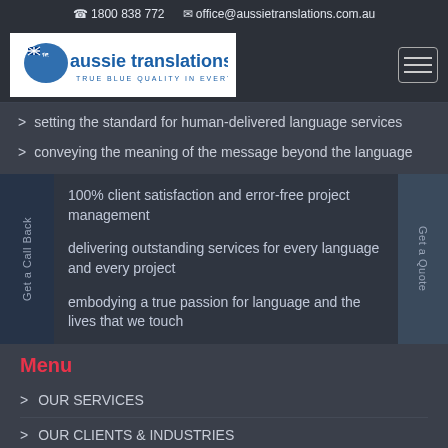☎ 1800 838 772  ✉ office@aussietranslations.com.au
[Figure (logo): Aussie Translations logo - blue text with Australian map icon, tagline: TRUE BLUE QUALITY IN EVERY LANGUAGE]
setting the standard for human-delivered language services
conveying the meaning of the message beyond the language
100% client satisfaction and error-free project management
delivering outstanding services for every language and every project
embodying a true passion for language and the lives that we touch
Menu
OUR SERVICES
OUR CLIENTS & INDUSTRIES
WHO WE ARE